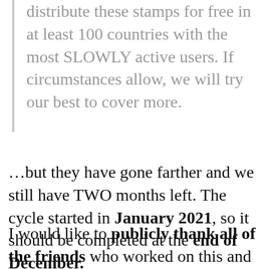distribute these stamps for free in at least 100 countries with the most SLOWLY active users. If circumstances allow, we will try our best to cover more.
...but they have gone farther and we still have TWO months left. The cycle started in January 2021, so it should be completed at the end of December.
I would like to publicly thank all of the friends who worked on this and other Slowly Stamp collections.